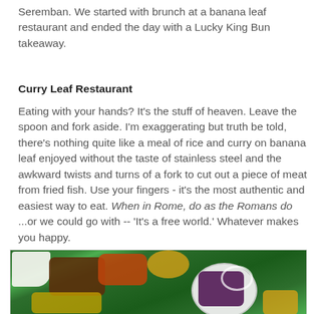Seremban. We started with brunch at a banana leaf restaurant and ended the day with a Lucky King Bun takeaway.
Curry Leaf Restaurant
Eating with your hands? It's the stuff of heaven. Leave the spoon and fork aside. I'm exaggerating but truth be told, there's nothing quite like a meal of rice and curry on banana leaf enjoyed without the taste of stainless steel and the awkward twists and turns of a fork to cut out a piece of meat from fried fish. Use your fingers - it's the most authentic and easiest way to eat. When in Rome, do as the Romans do ...or we could go with -- 'It's a free world.' Whatever makes you happy.
[Figure (photo): A banana leaf meal spread with rice, various curries, and side dishes on a green banana leaf, with a plate containing a dark-colored item topped with onion rings]